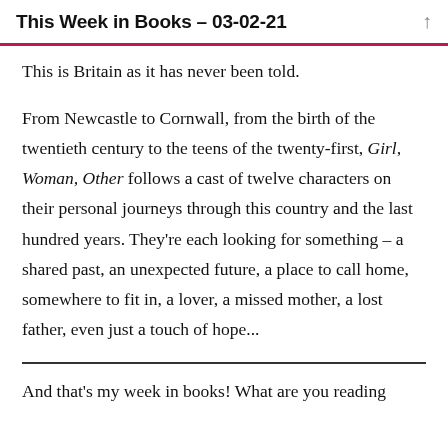This Week in Books – 03-02-21
This is Britain as it has never been told.
From Newcastle to Cornwall, from the birth of the twentieth century to the teens of the twenty-first, Girl, Woman, Other follows a cast of twelve characters on their personal journeys through this country and the last hundred years. They're each looking for something – a shared past, an unexpected future, a place to call home, somewhere to fit in, a lover, a missed mother, a lost father, even just a touch of hope...
And that's my week in books! What are you reading